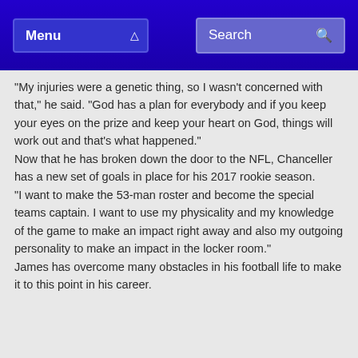Menu | Search
"My injuries were a genetic thing, so I wasn't concerned with that," he said. “God has a plan for everybody and if you keep your eyes on the prize and keep your heart on God, things will work out and that's what happened.”
Now that he has broken down the door to the NFL, Chanceller has a new set of goals in place for his 2017 rookie season.
“I want to make the 53-man roster and become the special teams captain. I want to use my physicality and my knowledge of the game to make an impact right away and also my outgoing personality to make an impact in the locker room.”
James has overcome many obstacles in his football life to make it to this point in his career.